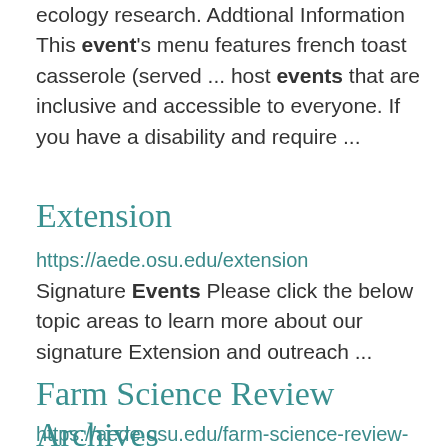ecology research. Addtional Information This event's menu features french toast casserole (served ... host events that are inclusive and accessible to everyone. If you have a disability and require ...
Extension
https://aede.osu.edu/extension
Signature Events Please click the below topic areas to learn more about our signature Extension and outreach ...
Farm Science Review Archives
https://aede.osu.edu/farm-science-review-2020
Farm Science Review was presented